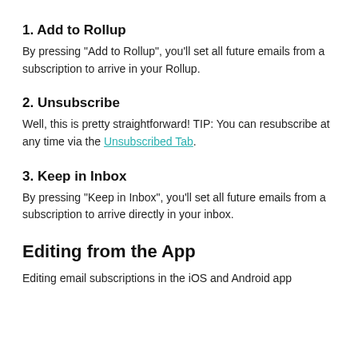1. Add to Rollup
By pressing "Add to Rollup", you'll set all future emails from a subscription to arrive in your Rollup.
2. Unsubscribe
Well, this is pretty straightforward! TIP: You can resubscribe at any time via the Unsubscribed Tab.
3. Keep in Inbox
By pressing "Keep in Inbox", you'll set all future emails from a subscription to arrive directly in your inbox.
Editing from the App
Editing email subscriptions in the iOS and Android app